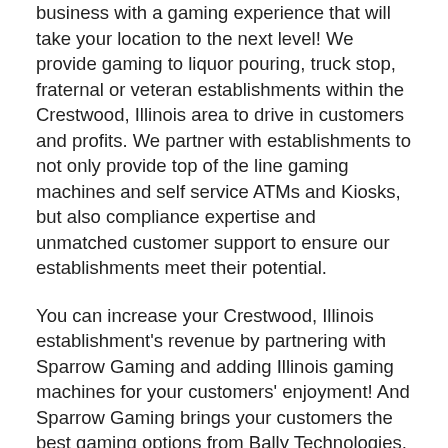business with a gaming experience that will take your location to the next level! We provide gaming to liquor pouring, truck stop, fraternal or veteran establishments within the Crestwood, Illinois area to drive in customers and profits. We partner with establishments to not only provide top of the line gaming machines and self service ATMs and Kiosks, but also compliance expertise and unmatched customer support to ensure our establishments meet their potential.
You can increase your Crestwood, Illinois establishment's revenue by partnering with Sparrow Gaming and adding Illinois gaming machines for your customers' enjoyment! And Sparrow Gaming brings your customers the best gaming options from Bally Technologies, IGT, SPIELO International, WMS Gaming, and Novomatic Group. Throughout the year, as gaming manufacturers offer upgrades to existing games and add new games, Sparrow Gaming keeps it fresh for your gamers by always upgrading and adding the best games.
Are you ready to see a 3X increase to your Crestwood, Illinois Illinois liquor pouring, truck stop, fraternal or veterans establishment? Contact Sparrow Gaming to learn more...